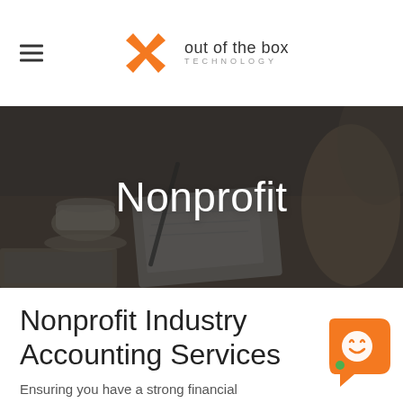Out of the Box Technology
[Figure (photo): People at a meeting table with notebooks, pens, and a coffee cup — dark overlay with the word 'Nonprofit' centered in white text]
Nonprofit Industry Accounting Services
Ensuring you have a strong financial